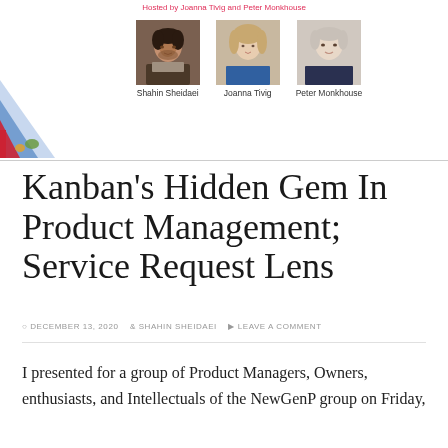Hosted by Joanna Tivig and Peter Monkhouse
[Figure (photo): Three headshot photos of Shahin Sheidaei, Joanna Tivig, and Peter Monkhouse with diagonal colored lines decoration on the left]
Shahin Sheidaei    Joanna Tivig    Peter Monkhouse
Kanban’s Hidden Gem In Product Management; Service Request Lens
© DECEMBER 13, 2020   § SHAHIN SHEIDAEI   ☐ LEAVE A COMMENT
I presented for a group of Product Managers, Owners, enthusiasts, and Intellectuals of the NewGenP group on Friday,